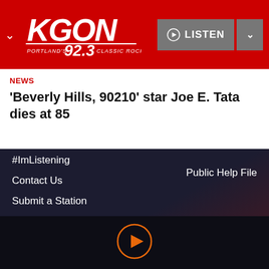[Figure (logo): KGON 92.3 Portland's Classic Rock radio station logo in white text on red background header bar with LISTEN button]
NEWS
'Beverly Hills, 90210' star Joe E. Tata dies at 85
#ImListening
Contact Us
Submit a Station
Submit a Podcast
Sitemap
Advertise with Us
Audacy Corporate Site
Public Help File
[Figure (other): Orange circle play button icon in bottom player bar]